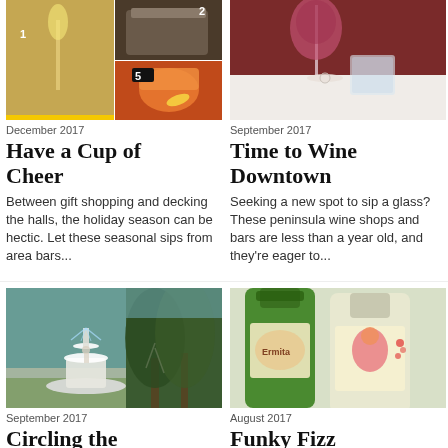[Figure (photo): Collage of cocktail photos with numbered labels 1, 2, 5 showing champagne flute, cocktail shaker, whiskey drinks]
[Figure (photo): Wine glass with red wine and crystal glasses on white table against dark red background]
December 2017
September 2017
Have a Cup of Cheer
Time to Wine Downtown
Between gift shopping and decking the halls, the holiday season can be hectic. Let these seasonal sips from area bars...
Seeking a new spot to sip a glass? These peninsula wine shops and bars are less than a year old, and they're eager to...
[Figure (photo): Park with a white fountain and trees with Spanish moss — Forsyth Park, Savannah style]
[Figure (photo): Wine bottles with colorful label showing a character, green and white bottles]
September 2017
August 2017
Circling the
Funky Fizz